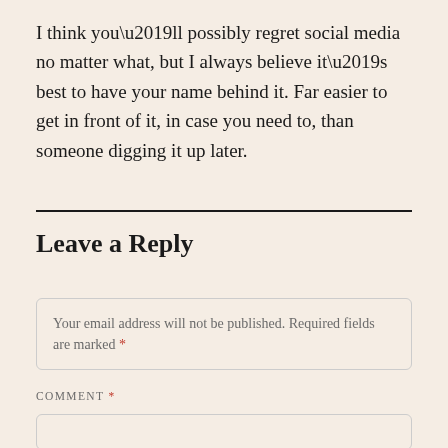I think you’ll possibly regret social media no matter what, but I always believe it’s best to have your name behind it. Far easier to get in front of it, in case you need to, than someone digging it up later.
Leave a Reply
Your email address will not be published. Required fields are marked *
COMMENT *